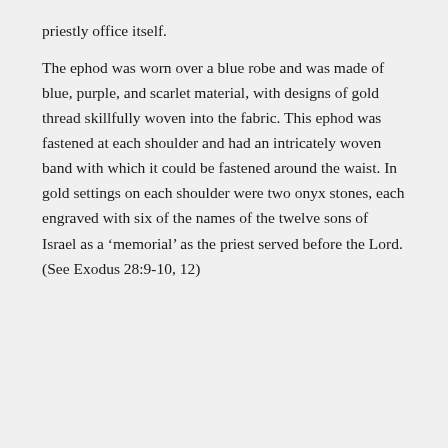priestly office itself.
The ephod was worn over a blue robe and was made of blue, purple, and scarlet material, with designs of gold thread skillfully woven into the fabric. This ephod was fastened at each shoulder and had an intricately woven band with which it could be fastened around the waist. In gold settings on each shoulder were two onyx stones, each engraved with six of the names of the twelve sons of Israel as a ‘memorial’ as the priest served before the Lord. (See Exodus 28:9-10, 12)